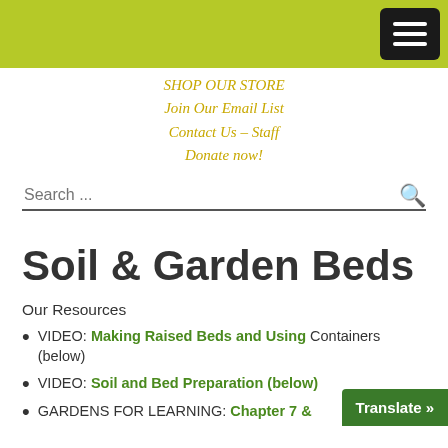SHOP OUR STORE
Join Our Email List
Contact Us – Staff
Donate now!
Search ...
Soil & Garden Beds
Our Resources
VIDEO: Making Raised Beds and Using Containers (below)
VIDEO: Soil and Bed Preparation (below)
GARDENS FOR LEARNING: Chapter 7 &...